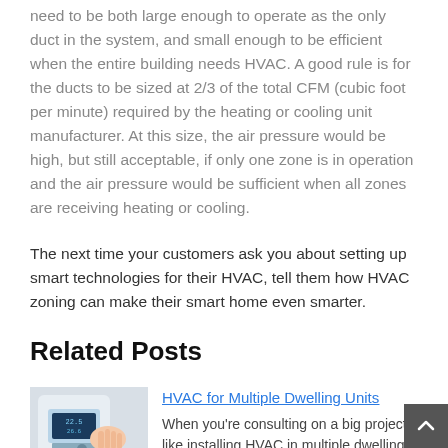need to be both large enough to operate as the only duct in the system, and small enough to be efficient when the entire building needs HVAC. A good rule is for the ducts to be sized at 2/3 of the total CFM (cubic foot per minute) required by the heating or cooling unit manufacturer. At this size, the air pressure would be high, but still acceptable, if only one zone is in operation and the air pressure would be sufficient when all zones are receiving heating or cooling.
The next time your customers ask you about setting up smart technologies for their HVAC, tell them how HVAC zoning can make their smart home even smarter.
Related Posts
[Figure (photo): A hand adjusting a digital thermostat displaying temperature readings]
HVAC for Multiple Dwelling Units
When you're consulting on a big project like installing HVAC in multiple dwelling units (MDU)